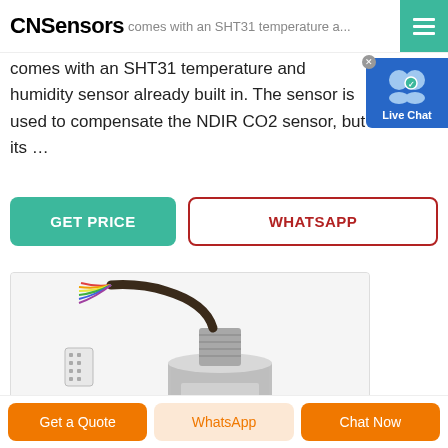CNSensors — comes with an SHT31 temperature and humidity sensor already built in.
comes with an SHT31 temperature and humidity sensor already built in. The sensor is used to compensate the NDIR CO2 sensor, but its …
[Figure (screenshot): Live Chat widget button with two-person icon in blue background]
GET PRICE
WHATSAPP
[Figure (photo): Photo of a cylindrical metallic CO2 sensor module with colored wires and a threaded metal connector, on a white background]
Get a Quote | WhatsApp | Chat Now